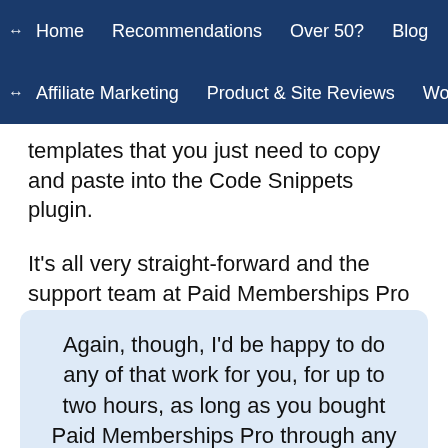↔  Home    Recommendations    Over 50?    Blog
↔  Affiliate Marketing    Product & Site Reviews    Wo
templates that you just need to copy and paste into the Code Snippets plugin.
It's all very straight-forward and the support team at Paid Memberships Pro will take you through the process step by step.
Again, though, I'd be happy to do any of that work for you, for up to two hours, as long as you bought Paid Memberships Pro through any of the